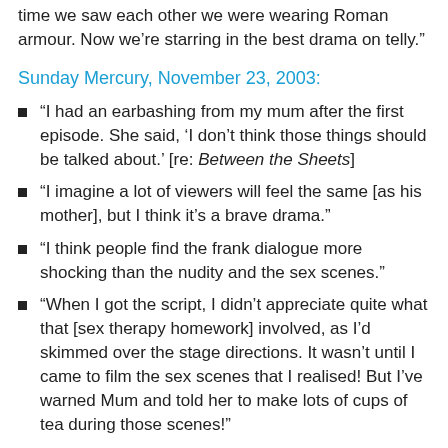time we saw each other we were wearing Roman armour. Now we’re starring in the best drama on telly.”
Sunday Mercury, November 23, 2003:
“I had an earbashing from my mum after the first episode. She said, ‘I don’t think those things should be talked about.’ [re: Between the Sheets]
“I imagine a lot of viewers will feel the same [as his mother], but I think it’s a brave drama.”
“I think people find the frank dialogue more shocking than the nudity and the sex scenes.”
“When I got the script, I didn’t appreciate quite what that [sex therapy homework] involved, as I’d skimmed over the stage directions. It wasn’t until I came to film the sex scenes that I realised! But I’ve warned Mum and told her to make lots of cups of tea during those scenes!”